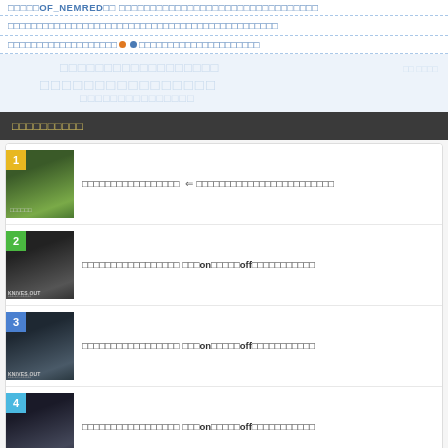□□□□□OF_NEMRED□□ □□□□□□□□□□□□□□□□□□□□□□□□□
□□□□□□□□□□□□□□□□□□□□□□□□□□□□□□□□□□□□□□□□□□□□□
□□□□□□□□□□□□□□□□□□□ ●●□□□□□□□□□□□□□□□□□□□□□
[Figure (screenshot): Watermark area with Japanese text overlay]
□□□□□□□□□□
□□□□□□□□□□□□□□□□□ ⇐□□□□□□□□□□□□□□□□□□□□□□□□
□□□□□□□□□□□□□□□□□ □□□on□□□□□off□□□□□□□□□□□
□□□□□□□□□□□□□□□□□ □□□on□□□□□off□□□□□□□□□□□
□□□□□□□□□□□□□□□□□ □□□on□□□□□off□□□□□□□□□□□